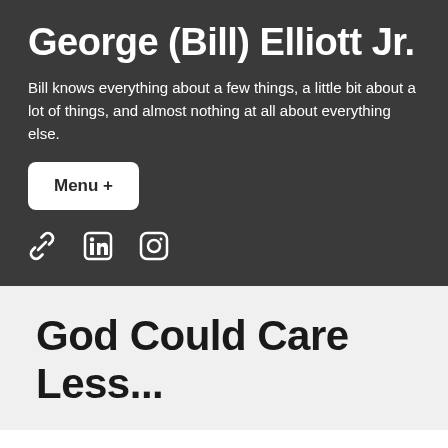George (Bill) Elliott Jr.
Bill knows everything about a few things, a little bit about a lot of things, and almost nothing at all about everything else.
Menu +
[Figure (other): Social media icons: link/chain icon, LinkedIn icon, Instagram icon]
God Could Care Less...
God Could Care Less but, He doesn't. Sometimes your life may seem and feel like He cares very little for you; does not seem to be aware (or care) of the troubles of your life or your circumstances.